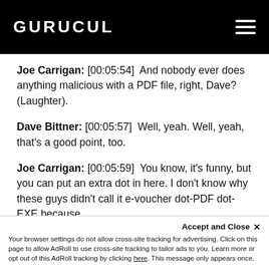GURUCUL
Joe Carrigan: [00:05:54]  And nobody ever does anything malicious with a PDF file, right, Dave? (Laughter).
Dave Bittner: [00:05:57]  Well, yeah. Well, yeah, that's a good point, too.
Joe Carrigan: [00:05:59]  You know, it's funny, but you can put an extra dot in here. I don't know why these guys didn't call it e-voucher dot-PDF dot-EXE because that would have been more effective. But th…
Accept and Close ×
Your browser settings do not allow cross-site tracking for advertising. Click on this page to allow AdRoll to use cross-site tracking to tailor ads to you. Learn more or opt out of this AdRoll tracking by clicking here. This message only appears once.